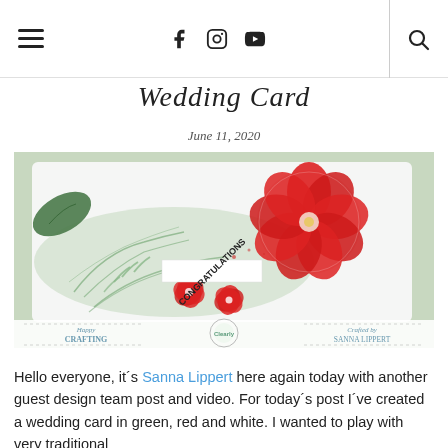navigation bar with hamburger menu, social icons (Facebook, Instagram, YouTube), and search
Wedding Card
June 11, 2020
[Figure (photo): A handmade wedding card featuring red poppies, green fern/leaf stamping, and a 'CONGRATULATIONS' banner on white cardstock. Watermark reads 'Happy CRAFTING' and 'Crafted by SANNA LIPPERT' with a Clearly Bessy logo.]
Hello everyone, it´s Sanna Lippert here again today with another guest design team post and video. For today´s post I´ve created a wedding card in green, red and white. I wanted to play with very traditional